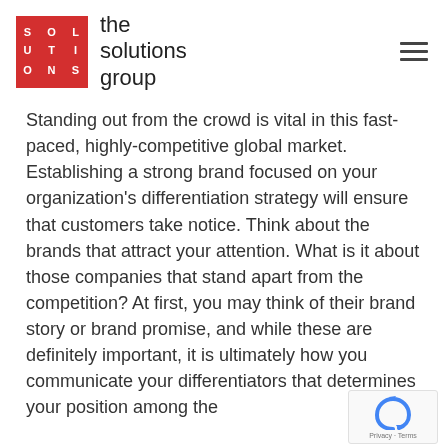[Figure (logo): The Solutions Group logo: red square grid with letters SOL/UTI/ONS in white, followed by text 'the solutions group']
Standing out from the crowd is vital in this fast-paced, highly-competitive global market. Establishing a strong brand focused on your organization's differentiation strategy will ensure that customers take notice. Think about the brands that attract your attention. What is it about those companies that stand apart from the competition? At first, you may think of their brand story or brand promise, and while these are definitely important, it is ultimately how you communicate your differentiators that determines your position among the